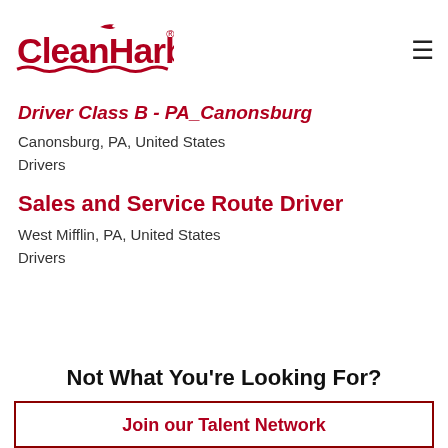CleanHarbors
Driver Class B - PA_Canonsburg
Canonsburg, PA, United States
Drivers
Sales and Service Route Driver
West Mifflin, PA, United States
Drivers
Not What You're Looking For?
Join our Talent Network